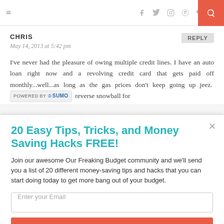Navigation bar with hamburger menu, social icons (Facebook, Twitter, Instagram, Pinterest, heart, RSS), and search button
CHRIS
May 14, 2013 at 5:42 pm
I've never had the pleasure of owing multiple credit lines. I have an auto loan right now and a revolving credit card that gets paid off monthly...well...as long as the gas prices don't keep going up jeez. [POWERED BY SUMO] reverse snowball for
20 Easy Tips, Tricks, and Money Saving Hacks FREE!
Join our awesome Our Freaking Budget community and we'll send you a list of 20 different money-saving tips and hacks that you can start doing today to get more bang out of your budget.
Enter your Email
Sign Me Up!